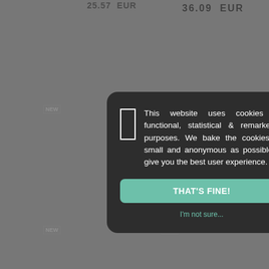25.57 EUR
36.09 EUR
[Figure (screenshot): Website product listing page background with NEW badges, product images of tools and rings, partially obscured by a cookie consent modal overlay]
This website uses cookies for functional, statistical & remarketing purposes. We bake the cookies as small and anonymous as possible to give you the best user experience.
THAT'S FINE!
I'm not sure...